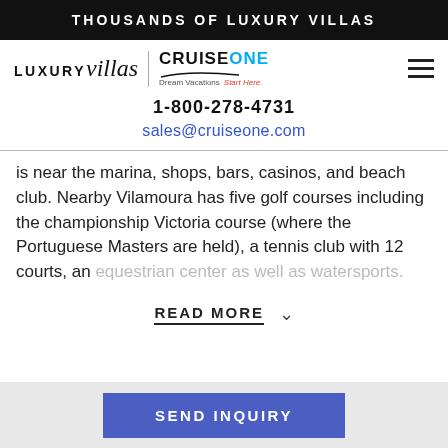THOUSANDS OF LUXURY VILLAS
[Figure (logo): LUXURYvillas logo combined with CruiseOne Dream Vacations Start Here logo, separated by a vertical line]
1-800-278-4731
sales@cruiseone.com
is near the marina, shops, bars, casinos, and beach club. Nearby Vilamoura has five golf courses including the championship Victoria course (where the Portuguese Masters are held), a tennis club with 12 courts, an equestrian center as well as watersports.
READ MORE
SEND INQUIRY